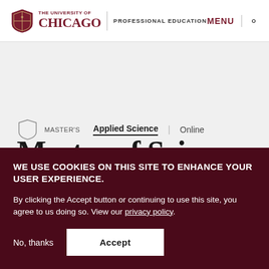THE UNIVERSITY OF CHICAGO | PROFESSIONAL EDUCATION | MENU
MASTER'S | Applied Science | Online
Master of Science
WE USE COOKIES ON THIS SITE TO ENHANCE YOUR USER EXPERIENCE. By clicking the Accept button or continuing to use this site, you agree to us doing so. View our privacy policy.
No, thanks
Accept